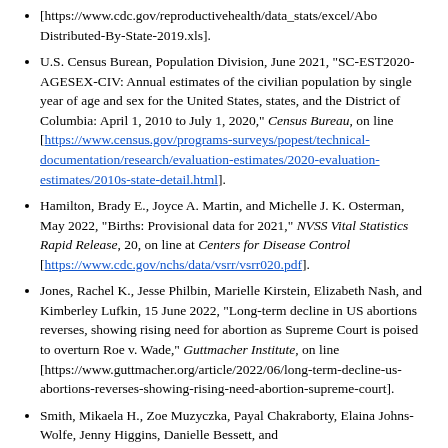[https://www.cdc.gov/reproductivehealth/data_stats/excel/Abo Distributed-By-State-2019.xls].
U.S. Census Burean, Population Division, June 2021, "SC-EST2020-AGESEX-CIV: Annual estimates of the civilian population by single year of age and sex for the United States, states, and the District of Columbia: April 1, 2010 to July 1, 2020," Census Bureau, on line [https://www.census.gov/programs-surveys/popest/technical-documentation/research/evaluation-estimates/2020-evaluation-estimates/2010s-state-detail.html].
Hamilton, Brady E., Joyce A. Martin, and Michelle J. K. Osterman, May 2022, "Births: Provisional data for 2021," NVSS Vital Statistics Rapid Release, 20, on line at Centers for Disease Control [https://www.cdc.gov/nchs/data/vsrr/vsrr020.pdf].
Jones, Rachel K., Jesse Philbin, Marielle Kirstein, Elizabeth Nash, and Kimberley Lufkin, 15 June 2022, "Long-term decline in US abortions reverses, showing rising need for abortion as Supreme Court is poised to overturn Roe v. Wade," Guttmacher Institute, on line [https://www.guttmacher.org/article/2022/06/long-term-decline-us-abortions-reverses-showing-rising-need-abortion-supreme-court].
Smith, Mikaela H., Zoe Muzyczka, Payal Chakraborty, Elaina Johns-Wolfe, Jenny Higgins, Danielle Bessett, and